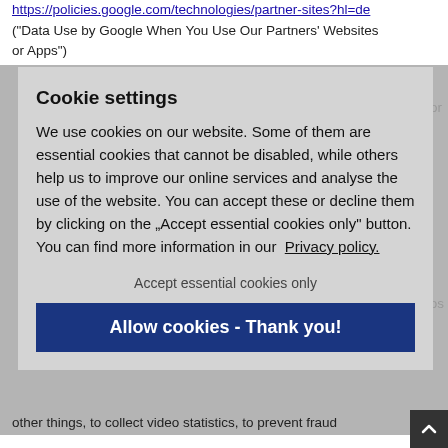https://policies.google.com/technologies/partner-sites?hl=de ("Data Use by Google When You Use Our Partners' Websites or Apps")
for
[Figure (screenshot): Cookie settings modal overlay with gray background. Contains title 'Cookie settings', body text explaining cookie usage, 'Accept essential cookies only' text button, and blue 'Allow cookies - Thank you!' button.]
deos
ion
. 6
ing
other things, to collect video statistics, to prevent fraud